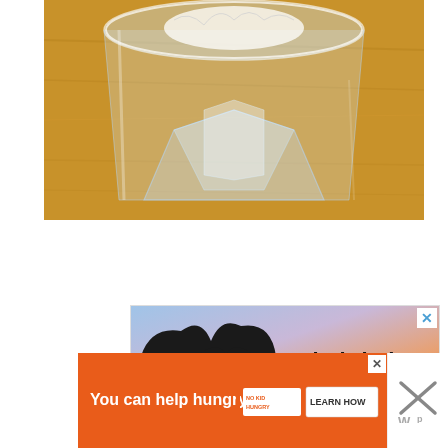[Figure (photo): Close-up photo of a clear glass tumbler with faceted bottom sitting on a wooden surface]
[Figure (photo): Advertisement banner with hashtag #ViralKindness showing hands forming a heart shape against a sunset sky, with a blue X close button]
[Figure (photo): Advertisement banner in orange: 'You can help hungry kids.' with No Kid Hungry logo and LEARN HOW button, with an X close button]
[Figure (logo): Small X close button and WordPress or Wordmark logo icon in grey at bottom right]